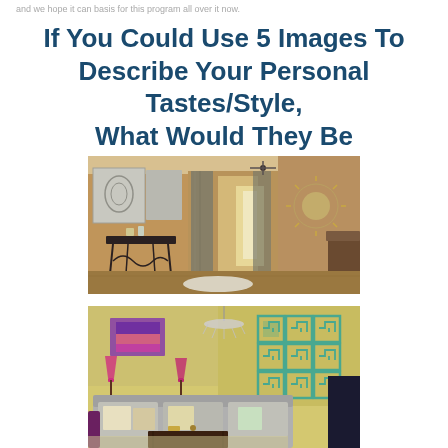and we hope it can basis for this program all over it now.
If You Could Use 5 Images To Describe Your Personal Tastes/Style, What Would They Be
[Figure (photo): Interior hallway/foyer with warm lighting, ornate iron console table with decorative items, silver wall art panels on left, patterned curtains in center corridor, sunburst mirror on right wall, brown sofa visible at right, hardwood floors, view through to bright window at end of hall.]
[Figure (photo): Colorful living room with eclectic style, gold/yellow accent wall featuring a teal geometric Greek key pattern wall art grid, crystal chandelier, purple table lamps, colorful pillows on a gray sofa, purple chairs, dark wood coffee table with decorative items.]